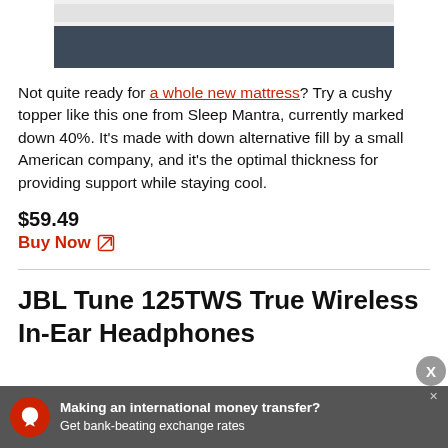[Figure (photo): Partial image of a mattress or mattress topper showing white top and dark grey/navy base]
Not quite ready for a whole new mattress? Try a cushy topper like this one from Sleep Mantra, currently marked down 40%. It's made with down alternative fill by a small American company, and it's the optimal thickness for providing support while staying cool.
$59.49
Buy Now
JBL Tune 125TWS True Wireless In-Ear Headphones
[Figure (screenshot): Advertisement banner: Making an international money transfer? Get bank-beating exchange rates]